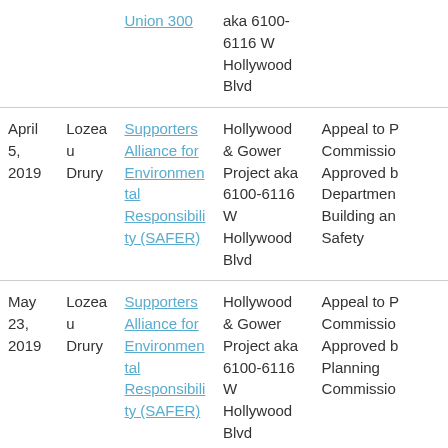| Date | Attorney | Client/Organization | Project | Action |
| --- | --- | --- | --- | --- |
|  |  | Union 300 | aka 6100-6116 W Hollywood Blvd |  |
| April 5, 2019 | Lozeau Drury | Supporters Alliance for Environmental Responsibility (SAFER) | Hollywood & Gower Project aka 6100-6116 W Hollywood Blvd | Appeal to [P]Commission Approved b[y] Department [of] Building and Safety |
| May 23, 2019 | Lozeau Drury | Supporters Alliance for Environmental Responsibility (SAFER) | Hollywood & Gower Project aka 6100-6116 W Hollywood Blvd | Appeal to [P]Commission Approved b[y] Planning Commission |
| August 5, 2019 | Adams Broadwell Joseph & Cardozo | Coalition for Responsible Equitable Development (CREED LA) | Hollywood & Gower Project aka 6100-6116 W Hollywood Blvd | Support Let[ter] |